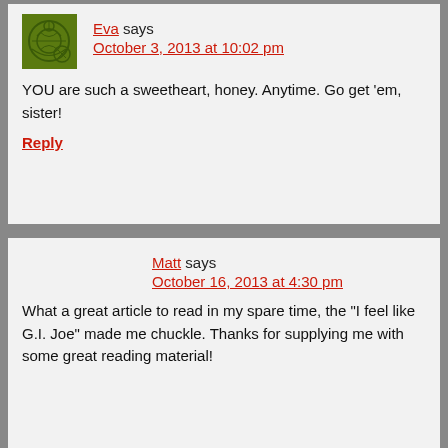Eva says
October 3, 2013 at 10:02 pm
YOU are such a sweetheart, honey. Anytime. Go get ‘em, sister!
Reply
Matt says
October 16, 2013 at 4:30 pm
What a great article to read in my spare time, the “I feel like G.I. Joe” made me chuckle. Thanks for supplying me with some great reading material!